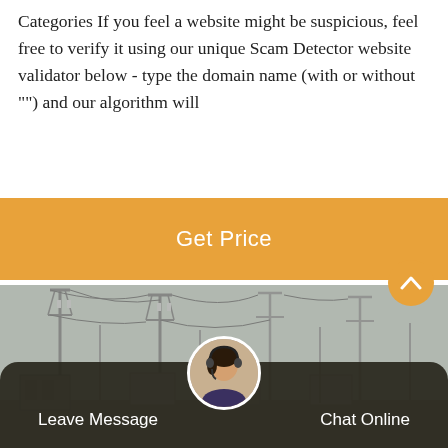Categories If you feel a website might be suspicious, feel free to verify it using our unique Scam Detector website validator below - type the domain name (with or without "") and our algorithm will
[Figure (other): Orange button with white text 'Get Price' on an amber/orange background]
[Figure (photo): Grayscale photo of a large electrical power substation with transmission towers, high-voltage lines, and transformer equipment]
[Figure (other): Orange circular up-arrow scroll button]
[Figure (other): Dark footer bar with 'Leave Message' on left, customer service representative avatar in center, 'Chat Online' on right]